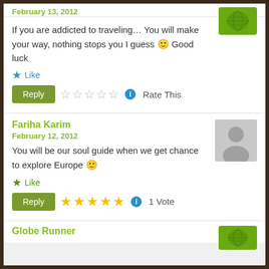February 13, 2012
If you are addicted to traveling... You will make your way, nothing stops you I guess 🙂 Good luck
Like
Reply | Rate This
Fariha Karim
February 12, 2012
You will be our soul guide when we get chance to explore Europe 🙂
Like
Reply | 1 Vote
Globe Runner